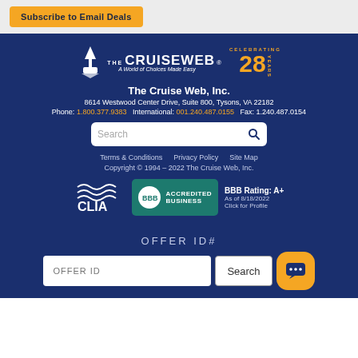[Figure (logo): Subscribe to Email Deals button at top]
[Figure (logo): The Cruise Web logo celebrating 28 years]
The Cruise Web, Inc.
8614 Westwood Center Drive, Suite 800, Tysons, VA 22182
Phone: 1.800.377.9383  International: 001.240.487.0155  Fax: 1.240.487.0154
Search (search box)
Terms & Conditions  Privacy Policy  Site Map
Copyright © 1994 – 2022 The Cruise Web, Inc.
[Figure (logo): CLIA logo and BBB Accredited Business A+ rating badge as of 8/18/2022]
OFFER ID#
OFFER ID input field with Search button and chat icon